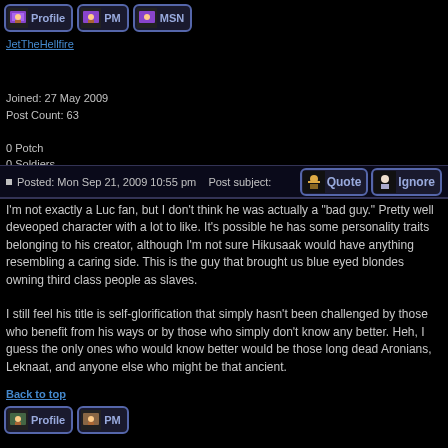[Figure (screenshot): Forum post page with user profile buttons (Profile, PM, MSN), user info, post content with Quote and Ignore buttons]
JetTheHellfire
Joined: 27 May 2009
Post Count: 63
0 Potch
0 Soldiers
0 Nation Points
Posted: Mon Sep 21, 2009 10:55 pm   Post subject:
I'm not exactly a Luc fan, but I don't think he was actually a "bad guy." Pretty well deveoped character with a lot to like. It's possible he has some personality traits belonging to his creator, although I'm not sure Hikusaak would have anything resembling a caring side. This is the guy that brought us blue eyed blondes owning third class people as slaves.

I still feel his title is self-glorification that simply hasn't been challenged by those who benefit from his ways or by those who simply don't know any better. Heh, I guess the only ones who would know better would be those long dead Aronians, Leknaat, and anyone else who might be that ancient.
Back to top